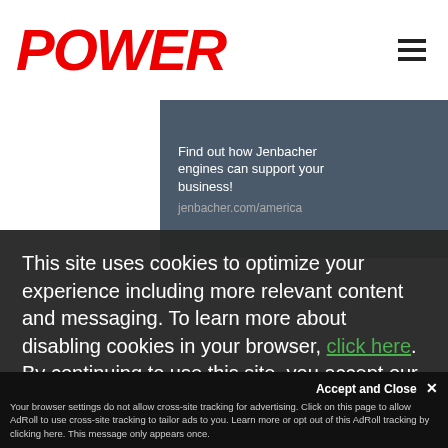[Figure (logo): POWER magazine logo in bold red italic text]
[Figure (illustration): Advertisement banner for Jenbacher engines with text 'Find out how Jenbacher engines can support your business!' and 'jenbacher.com/america' alongside 'THE POWER' text on green forest background]
This site uses cookies to optimize your experience including more relevant content and messaging. To learn more about disabling cookies in your browser, click here.  By continuing to use this site, you accept our use of cookies. For more information, view our updated Privacy Policy.
Accept and Close ✕
Your browser settings do not allow cross-site tracking for advertising. Click on this page to allow AdRoll to use cross-site tracking to tailor ads to you. Learn more or opt out of this AdRoll tracking by clicking here. This message only appears once.